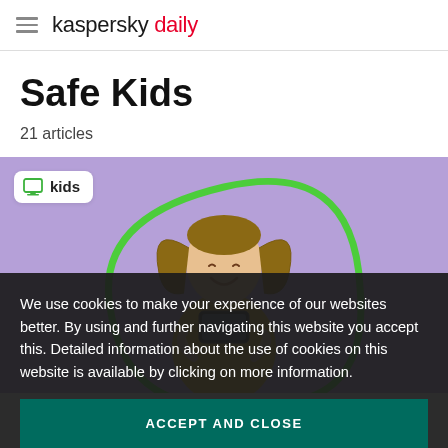kaspersky daily
Safe Kids
21 articles
[Figure (photo): A smiling young girl with pigtails looking at a smartphone, on a purple background with a green rounded rectangle outline. A white badge reading 'kids' with a green laptop icon is in the top-left corner.]
We use cookies to make your experience of our websites better. By using and further navigating this website you accept this. Detailed information about the use of cookies on this website is available by clicking on more information.
ACCEPT AND CLOSE